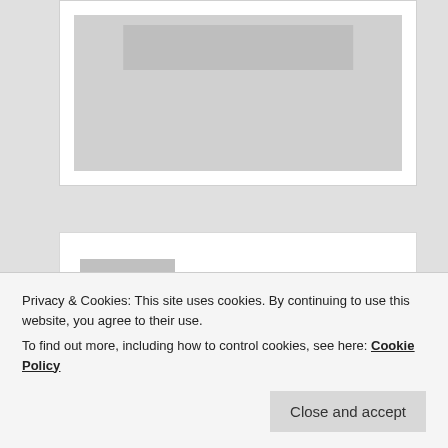[Figure (photo): Placeholder image box with grey background, partially visible at top of page]
[Figure (illustration): Comment section with avatar placeholder (grey person silhouette icon)]
azmt on July 25, 2018 at 8:44 AM said:
Hi!

I've started like a month ago (had cheating moments) and then last weeks ate only beef. I
Privacy & Cookies: This site uses cookies. By continuing to use this website, you agree to their use.
To find out more, including how to control cookies, see here: Cookie Policy
Close and accept
day I went back and adaptation phase came back